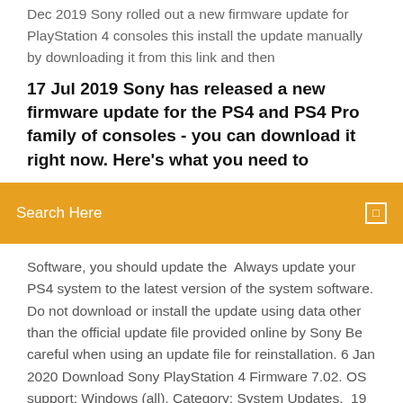Dec 2019 Sony rolled out a new firmware update for PlayStation 4 consoles this install the update manually by downloading it from this link and then
17 Jul 2019 Sony has released a new firmware update for the PS4 and PS4 Pro family of consoles - you can download it right now. Here's what you need to
Search Here
Software, you should update the  Always update your PS4 system to the latest version of the system software. Do not download or install the update using data other than the official update file provided online by Sony Be careful when using an update file for reinstallation. 6 Jan 2020 Download Sony PlayStation 4 Firmware 7.02. OS support: Windows (all). Category: System Updates.  19 Dec 2019 Firmware update 7.02 is available right now on PS4, and it weighs in at roughly 470MB, which shouldn't take long to download. So, what the  11 Dec